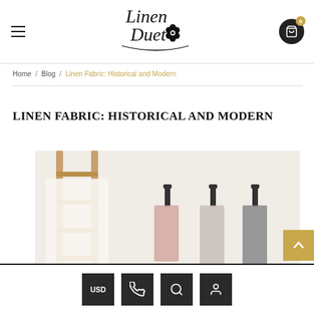Linen Duet logo with hamburger menu and cart icon
Home / Blog / Linen Fabric: Historical and Modern
LINEN FABRIC: HISTORICAL AND MODERN
[Figure (photo): Photo showing linen towels hanging on wall hooks and a wooden ladder with white linen fabric draped over it]
USD | Phone | Search | Account icons